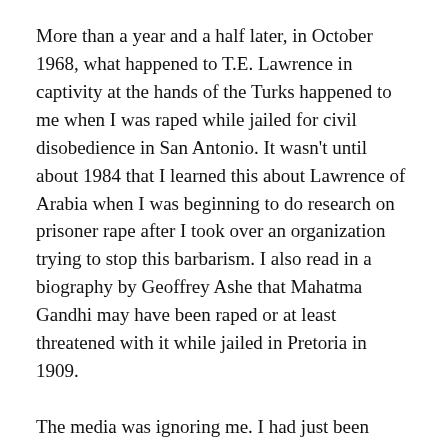More than a year and a half later, in October 1968, what happened to T.E. Lawrence in captivity at the hands of the Turks happened to me when I was raped while jailed for civil disobedience in San Antonio. It wasn't until about 1984 that I learned this about Lawrence of Arabia when I was beginning to do research on prisoner rape after I took over an organization trying to stop this barbarism. I also read in a biography by Geoffrey Ashe that Mahatma Gandhi may have been raped or at least threatened with it while jailed in Pretoria in 1909.
The media was ignoring me. I had just been threatened obviously by someone with clout. For days I had been sleeping under picnic tables and bridges. None of that mattered except my small suicide had failed and I was more in love with Celina than ever. I wanted to scream for joy, then drop dead of starvation. How could God do